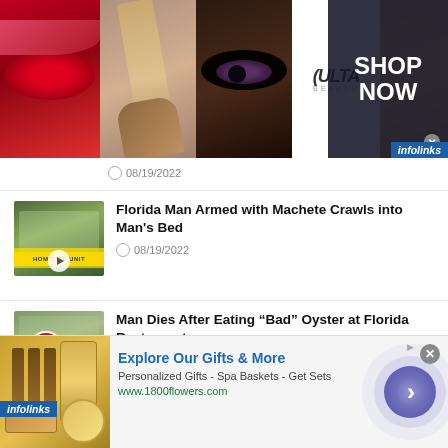[Figure (screenshot): Ulta Beauty advertisement banner with makeup/cosmetics images and 'SHOP NOW' call to action, with infolinks badge]
08/19/2022
[Figure (photo): Thumbnail image with play button for news article about Florida Man armed with machete]
Florida Man Armed with Machete Crawls into Man's Bed
08/19/2022
[Figure (photo): Thumbnail image with play button for news article about man dying after eating bad oyster]
Man Dies After Eating “Bad” Oyster at Florida Restaurant
08/18/2022
[Figure (screenshot): 1800flowers.com advertisement: Explore Our Gifts & More - Personalized Gifts - Spa Baskets - Get Sets, www.1800flowers.com]